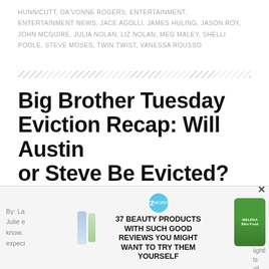HUNNICUTT, DA'VONNE ROGERS, ENTERTAINMENT, ENTERTAINMENT NEWS, JACE AGOLLI, JAMES HULING, JASON ROY, JOHN MCGUIRE, JULIA NOLAN, LIZ NOLAN, MEG MALEY, SHELLI POOLE, STEVE MOSES, TWIN TWIST, VANESSA ROUSSO
Big Brother Tuesday Eviction Recap: Will Austin or Steve Be Evicted?
SEPTEMBER 15, 2015 BY TAMARATATTLES
54 COMMENTS
CLOSE
[Figure (other): Advertisement banner with Cetaphil products on the left, a badge reading '22 WORDS' and headline '37 BEAUTY PRODUCTS WITH SUCH GOOD REVIEWS YOU MIGHT WANT TO TRY THEM YOURSELF' in center, and Weleda product on the right with a close X button]